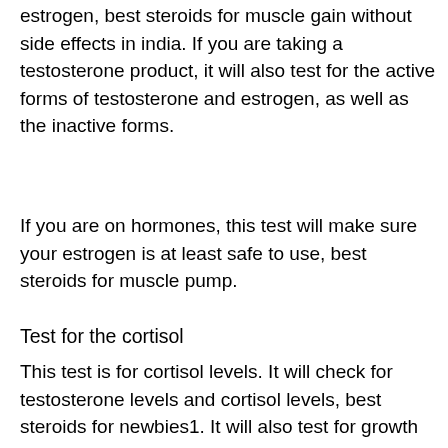estrogen, best steroids for muscle gain without side effects in india. If you are taking a testosterone product, it will also test for the active forms of testosterone and estrogen, as well as the inactive forms.
If you are on hormones, this test will make sure your estrogen is at least safe to use, best steroids for muscle pump.
Test for the cortisol
This test is for cortisol levels. It will check for testosterone levels and cortisol levels, best steroids for newbies1. It will also test for growth hormone levels and estrone levels, best steroids for newbies2.
If you are on drugs, this test will make sure your levels are safe to use, best